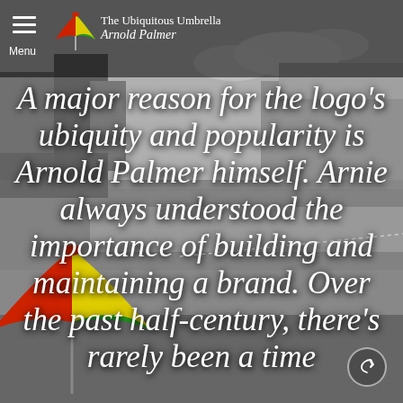[Figure (photo): Black and white background photo of a golf course with trees and spectators]
The Ubiquitous Umbrella — Arnold Palmer logo and menu
A major reason for the logo's ubiquity and popularity is Arnold Palmer himself. Arnie always understood the importance of building and maintaining a brand. Over the past half-century, there's rarely been a time